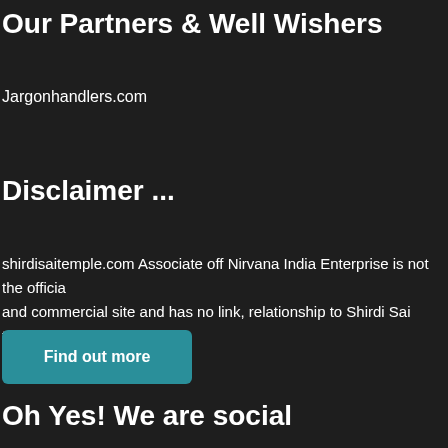Our Partners & Well Wishers
Jargonhandlers.com
Disclaimer ...
shirdisaitemple.com Associate off Nirvana India Enterprise is not the official and commercial site and has no link, relationship to Shirdi Sai temple trust.
Find out more
Oh Yes! We are social